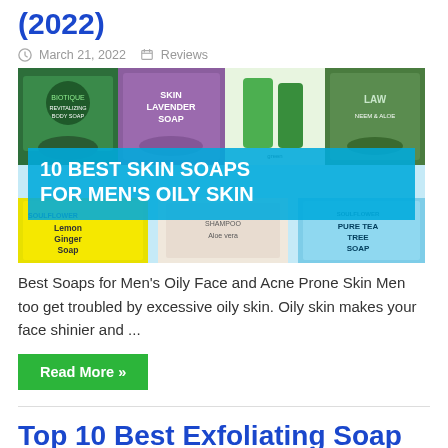(2022)
March 21, 2022   Reviews
[Figure (photo): Collage of soap products for men's oily skin with blue banner overlay reading '10 BEST SKIN SOAPS FOR MEN'S OILY SKIN'. Products include Biotique Revitalizing Body Soap, Skin Lavender Soap, Lemon Ginger Soap, Shampoo Aloe Vera, and Pure Tea Tree Soap.]
Best Soaps for Men's Oily Face and Acne Prone Skin Men too get troubled by excessive oily skin. Oily skin makes your face shinier and ...
Read More »
Top 10 Best Exfoliating Soap